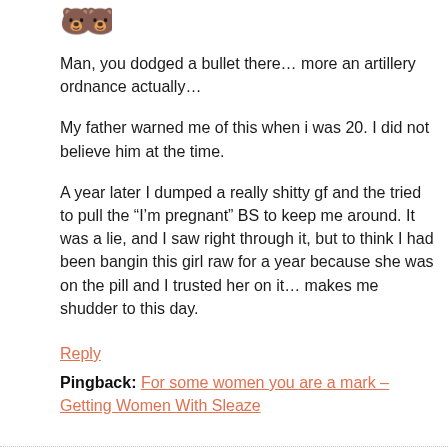[Figure (illustration): Small avatar icon with two heart/bear emojis]
Man, you dodged a bullet there… more an artillery ordnance actually…
My father warned me of this when i was 20. I did not believe him at the time.
A year later I dumped a really shitty gf and the tried to pull the “I’m pregnant” BS to keep me around. It was a lie, and I saw right through it, but to think I had been bangin this girl raw for a year because she was on the pill and I trusted her on it… makes me shudder to this day.
Reply
Pingback: For some women you are a mark – Getting Women With Sleaze